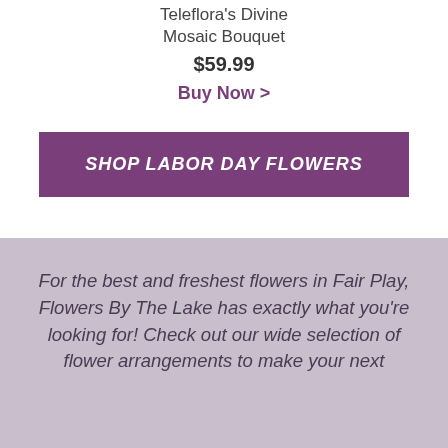Teleflora's Divine Mosaic Bouquet
$59.99
Buy Now >
SHOP LABOR DAY FLOWERS
For the best and freshest flowers in Fair Play, Flowers By The Lake has exactly what you're looking for! Check out our wide selection of flower arrangements to make your next